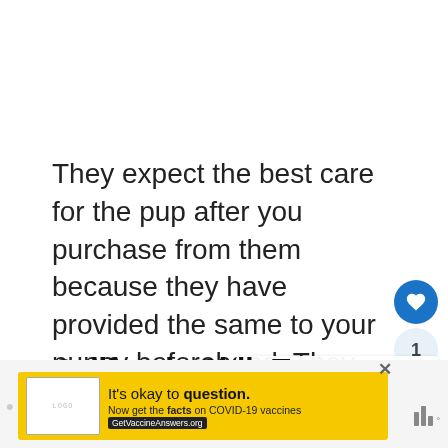They expect the best care for the pup after you purchase from them because they have provided the same to your puppy beforehand. They will want to make sure the next dog owners do the same and provide the same high-quality to the new Shih Tzu puppy.
California Shih Tzu Contact.
[Figure (screenshot): Ad banner for COVID-19 vaccine information: yellow background, text 'It's okay to question. Now get the facts on COVID-19 vaccines GetVaccineAnswers.org' with a close button and small logo box]